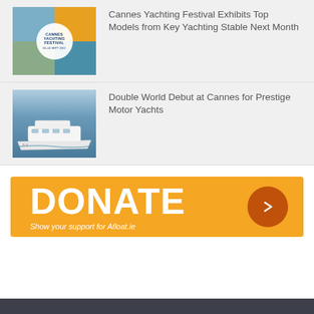[Figure (photo): Cannes Yachting Festival logo overlay on a grid of four marine/yachting photos]
Cannes Yachting Festival Exhibits Top Models from Key Yachting Stable Next Month
[Figure (photo): White motor yacht on blue water near a harbour]
Double World Debut at Cannes for Prestige Motor Yachts
[Figure (infographic): Orange DONATE banner with arrow button and text 'Show your support for Afloat.ie']